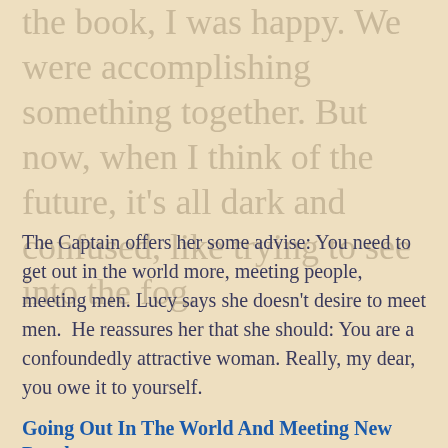the book, I was happy. We were accomplishing something together. But now, when I think of the future, it's all dark and confused, like trying to see into the fog.
The Captain offers her some advise: You need to get out in the world more, meeting people, meeting men. Lucy says she doesn't desire to meet men. He reassures her that she should: You are a confoundedly attractive woman. Really, my dear, you owe it to yourself.
Going Out In The World And Meeting New People